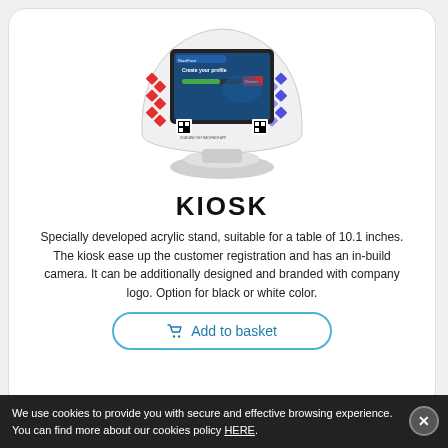[Figure (photo): A white acrylic kiosk with a touchscreen display showing 'Create your profile' interface, decorated with red and blue diamond patterns, with QR codes at the base.]
KIOSK
Specially developed acrylic stand, suitable for a table of 10.1 inches. The kiosk ease up the customer registration and has an in-build camera. It can be additionally designed and branded with company logo. Option for black or white color.
Add to basket
We use cookies to provide you with secure and effective browsing experience. You can find more about our cookies policy HERE.